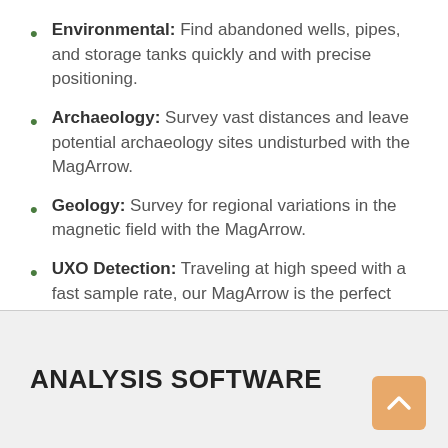Environmental: Find abandoned wells, pipes, and storage tanks quickly and with precise positioning.
Archaeology: Survey vast distances and leave potential archaeology sites undisturbed with the MagArrow.
Geology: Survey for regional variations in the magnetic field with the MagArrow.
UXO Detection: Traveling at high speed with a fast sample rate, our MagArrow is the perfect tool to survey sites for detection and delineation of UXO.
ANALYSIS SOFTWARE